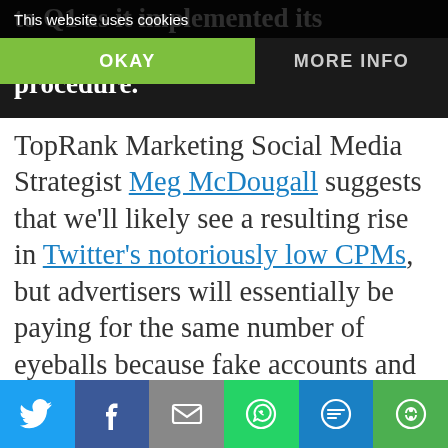to Q1 as it implemented its cleansing procedure.
This website uses cookies
OKAY    MORE INFO
TopRank Marketing Social Media Strategist Meg McDougall suggests that we'll likely see a resulting rise in Twitter's notoriously low CPMs, but advertisers will essentially be paying for the same number of eyeballs because fake accounts and their false impressions are being eliminated.

While it's not clear what fallout we'll see as a result of these new exploratory
Twitter | Facebook | Email | WhatsApp | SMS | More